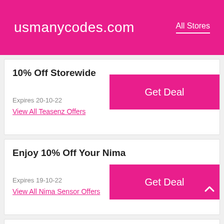usmanycodes.com  All Stores
10% Off Storewide
Expires 20-10-22
View All Teasenz Offers
Enjoy 10% Off Your Nima
Expires 19-10-22
View All Nima Sensor Offers